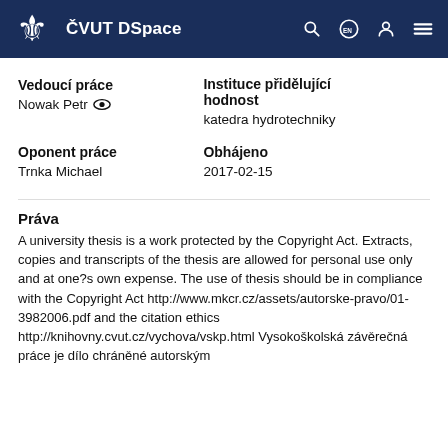ČVUT DSpace
Vedoucí práce
Nowak Petr
Instituce přidělující hodnost
katedra hydrotechniky
Oponent práce
Trnka Michael
Obhájeno
2017-02-15
Práva
A university thesis is a work protected by the Copyright Act. Extracts, copies and transcripts of the thesis are allowed for personal use only and at one?s own expense. The use of thesis should be in compliance with the Copyright Act http://www.mkcr.cz/assets/autorske-pravo/01-3982006.pdf and the citation ethics http://knihovny.cvut.cz/vychova/vskp.html Vysokoškolská závěrečná práce je dílo chráněné autorským